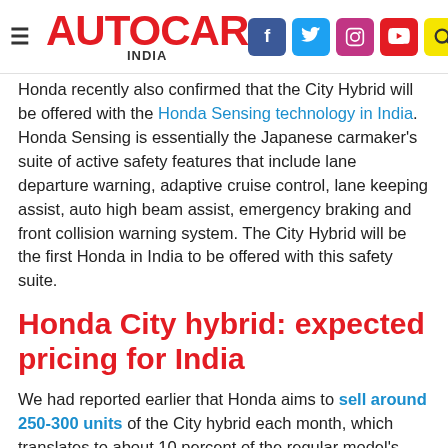AUTOCAR INDIA
Honda recently also confirmed that the City Hybrid will be offered with the Honda Sensing technology in India. Honda Sensing is essentially the Japanese carmaker's suite of active safety features that include lane departure warning, adaptive cruise control, lane keeping assist, auto high beam assist, emergency braking and front collision warning system. The City Hybrid will be the first Honda in India to be offered with this safety suite.
Honda City hybrid: expected pricing for India
We had reported earlier that Honda aims to sell around 250-300 units of the City hybrid each month, which translates to about 10 percent of the regular model's average monthly sales figure. The automaker has set a